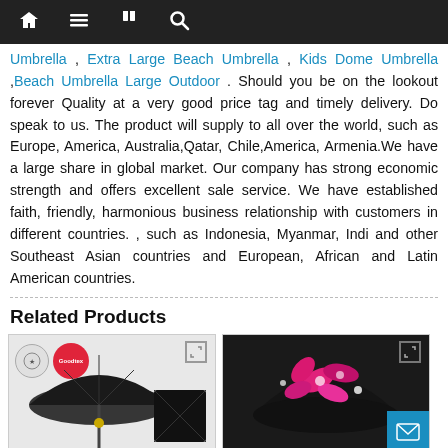Navigation bar with home, menu, bookmarks, and search icons
Umbrella , Extra Large Beach Umbrella , Kids Dome Umbrella ,Beach Umbrella Large Outdoor . Should you be on the lookout forever Quality at a very good price tag and timely delivery. Do speak to us. The product will supply to all over the world, such as Europe, America, Australia,Qatar, Chile,America, Armenia.We have a large share in global market. Our company has strong economic strength and offers excellent sale service. We have established faith, friendly, harmonious business relationship with customers in different countries. , such as Indonesia, Myanmar, Indi and other Southeast Asian countries and European, African and Latin American countries.
Related Products
[Figure (photo): Black umbrella product photo with circular badges (grey and red) in the top-left corner]
[Figure (photo): Umbrella with pink floral pattern on black background, with a blue mail button in the bottom-right]